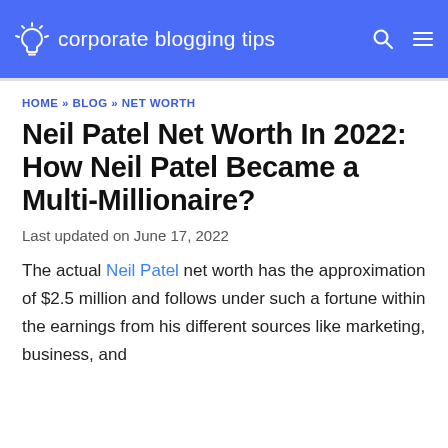corporate blogging tips
HOME » BLOG » NET WORTH
Neil Patel Net Worth In 2022: How Neil Patel Became a Multi-Millionaire?
Last updated on June 17, 2022
The actual Neil Patel net worth has the approximation of $2.5 million and follows under such a fortune within the earnings from his different sources like marketing, business, and